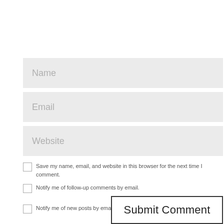[Figure (screenshot): Form input field with placeholder text 'Name' on light grey background]
[Figure (screenshot): Form input field with placeholder text 'Email' on light grey background]
[Figure (screenshot): Form input field with placeholder text 'Website' on light grey background]
Save my name, email, and website in this browser for the next time I comment.
Notify me of follow-up comments by email.
Notify me of new posts by email.
Submit Comment